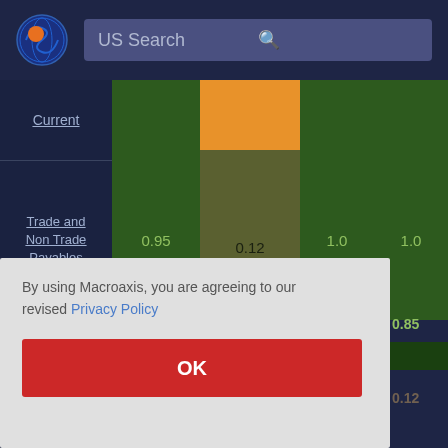[Figure (screenshot): Macroaxis website header with logo and US Search bar]
|  | Col1 | Col2 | Col3 | Col4 |
| --- | --- | --- | --- | --- |
| Current |  |  |  |  |
| Trade and Non Trade Payables | 0.95 | 0.12 | 1.0 | 1.0 |
By using Macroaxis, you are agreeing to our revised Privacy Policy
OK